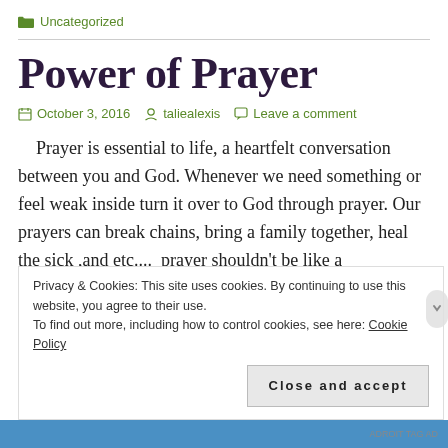Uncategorized
Power of Prayer
October 3, 2016   taliealexis   Leave a comment
Prayer is essential to life, a heartfelt conversation between you and God. Whenever we need something or feel weak inside turn it over to God through prayer. Our prayers can break chains, bring a family together, heal the sick ,and etc....  prayer shouldn't be like a
Privacy & Cookies: This site uses cookies. By continuing to use this website, you agree to their use.
To find out more, including how to control cookies, see here: Cookie Policy
Close and accept